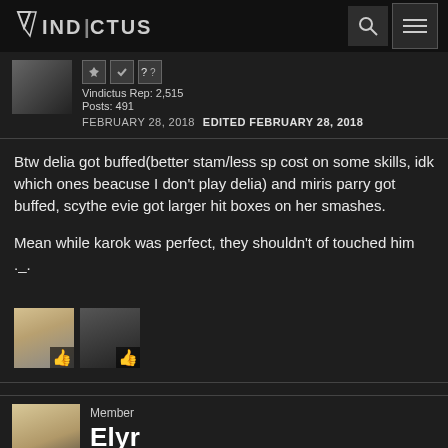VINDICTUS
Vindictus Rep: 2,515
Posts: 491
FEBRUARY 28, 2018   EDITED FEBRUARY 28, 2018
Btw delia got buffed(better stam/less sp cost on some skills, idk which ones beacuse I don't play delia) and miris parry got buffed, scythe evie got larger hit boxes on her smashes.

Mean while karok was perfect, they shouldn't of touched him ._.
[Figure (photo): Two user reaction avatars with thumbs-up icons below post]
Member
Elyr